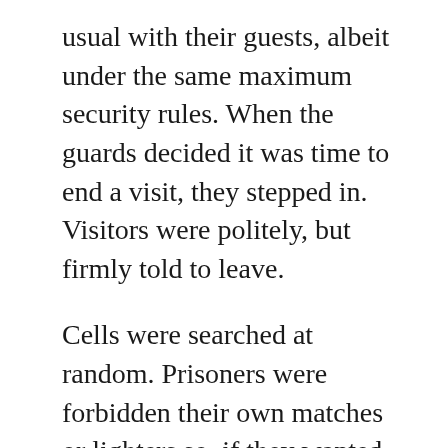usual with their guests, albeit under the same maximum security rules. When the guards decided it was time to end a visit, they stepped in. Visitors were politely, but firmly told to leave.
Cells were searched at random. Prisoners were forbidden their own matches or lighters so, if they wanted to smoke, they had to ask a guard for a light. Food was served with crockery and cutlery made from thin aluminium, each item  being individually counted in and out to